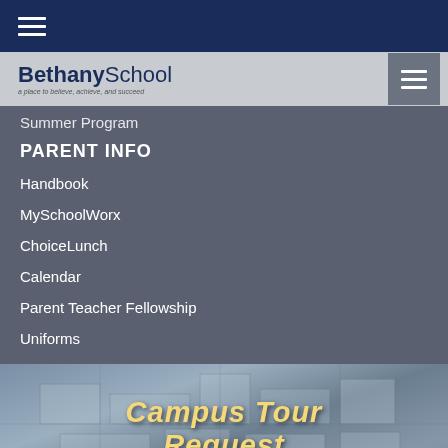Bethany School
Summer Program
PARENT INFO
Handbook
MySchoolWorx
ChoiceLunch
Calendar
Parent Teacher Fellowship
Uniforms
[Figure (photo): Aerial view of Bethany School campus with 'Campus Tour Request' text overlay in yellow script]